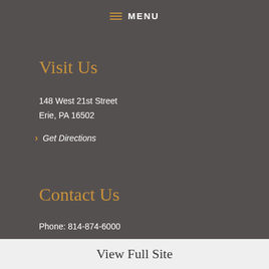MENU
Visit Us
148 West 21st Street
Erie, PA 16502
Get Directions
Contact Us
Phone: 814-874-6000
Email Us
View Full Site